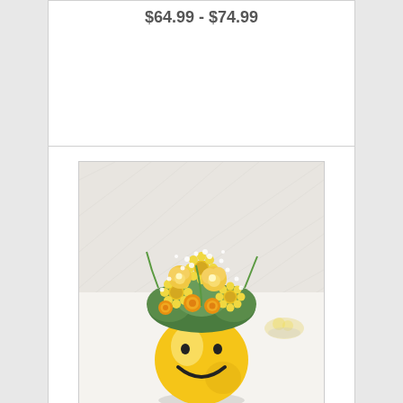$64.99 - $74.99
[Figure (photo): A floral bouquet arranged in a yellow smiley face ceramic vase. The bouquet contains yellow roses, yellow daisies, small yellow button flowers, and white baby's breath with green foliage. The vase has two dot eyes and a curved smile drawn on it. The background is a white/light grey surface with blurred lemons in a bowl to the right.]
Make Me Smile™ Bouquet
$54.99